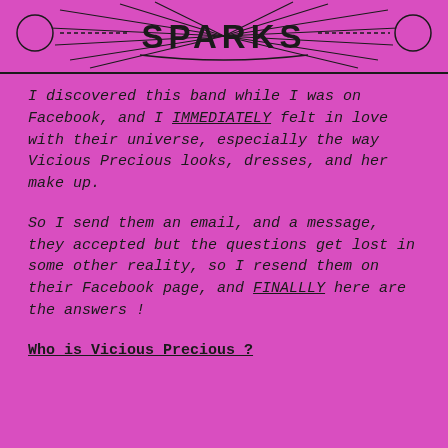SPARKS
I discovered this band while I was on Facebook, and I IMMEDIATELY felt in love with their universe, especially the way Vicious Precious looks, dresses, and her make up.
So I send them an email, and a message, they accepted but the questions get lost in some other reality, so I resend them on their Facebook page, and FINALLLY here are the answers !
Who is Vicious Precious ?